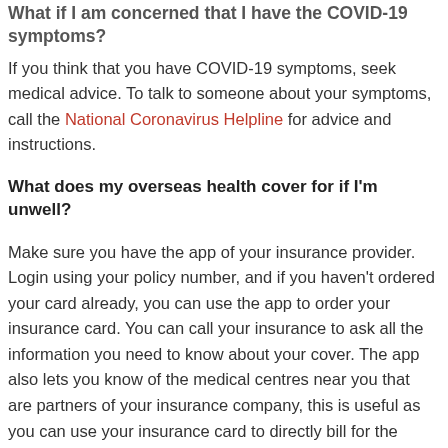What if I am concerned that I have the COVID-19 symptoms?
If you think that you have COVID-19 symptoms, seek medical advice. To talk to someone about your symptoms, call the National Coronavirus Helpline for advice and instructions.
What does my overseas health cover for if I'm unwell?
Make sure you have the app of your insurance provider. Login using your policy number, and if you haven't ordered your card already, you can use the app to order your insurance card. You can call your insurance to ask all the information you need to know about your cover. The app also lets you know of the medical centres near you that are partners of your insurance company, this is useful as you can use your insurance card to directly bill for the service you get on a doctor's visit. Otherwise,